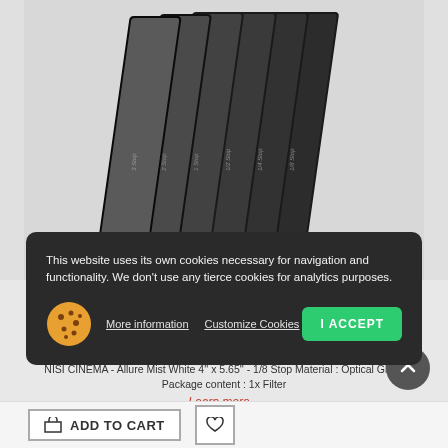[Figure (photo): A row of camera filter glass panels standing upright, fanned out, dark metallic frames with dark glass, product shot on grey background]
NISI CINEMA - Allure Mist White 4'' x 5.65'' - 1/8 Stop
4565AMW18
319,00 €
NISI CINEMA - Allure Mist White 4'' x 5.65'' - 1/8 Stop Material : Optical Glass Package content : 1x Filter
Learn more...
This website uses its own cookies necessary for navigation and functionality. We don't use any tierce cookies for analytics purposes.
More information
Customize Cookies
I ACCEPT
ADD TO CART